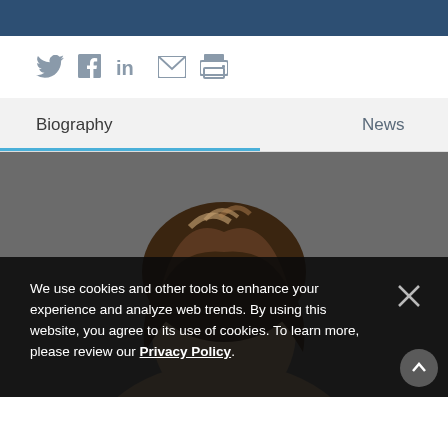[Figure (infographic): Social sharing icons: Twitter, Facebook, LinkedIn, Email, Print]
Biography
News
[Figure (photo): Professional headshot of a woman with dark brown/highlighted hair against a grey background]
We use cookies and other tools to enhance your experience and analyze web trends. By using this website, you agree to its use of cookies. To learn more, please review our Privacy Policy.